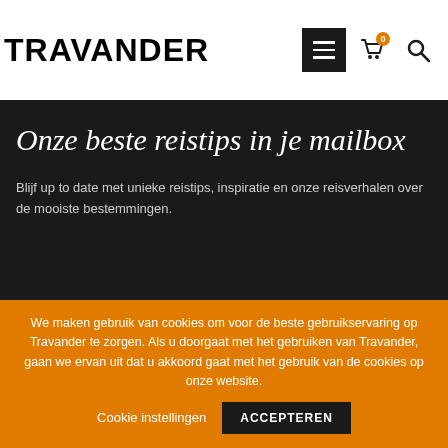TRAVANDER
Onze beste reistips in je mailbox
Blijf up to date met unieke reistips, inspiratie en onze reisverhalen over de mooiste bestemmingen.
We maken gebruik van cookies om voor de beste gebruikservaring op Travander te zorgen. Als u doorgaat met het gebruiken van Travander, gaan we ervan uit dat u akkoord gaat met het gebruik van de cookies op onze website.
Cookie instellingen
ACCEPTEREN